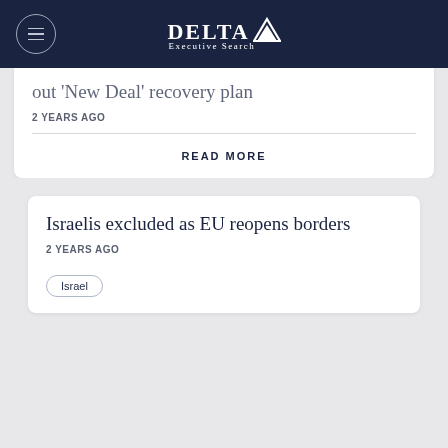DELTA Executive Search
...out 'New Deal' recovery plan
2 YEARS AGO
READ MORE
Israelis excluded as EU reopens borders
2 YEARS AGO
Israel